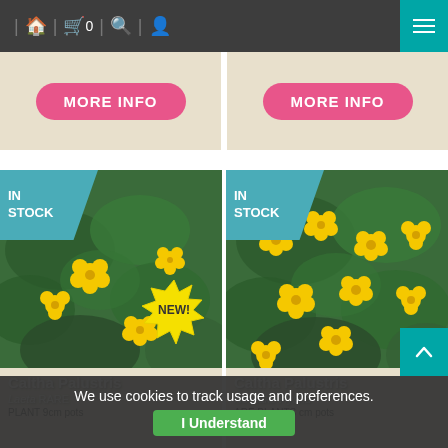Navigation bar with home, cart (0), search, user icons and hamburger menu
[Figure (screenshot): Two MORE INFO pink buttons on beige card backgrounds]
[Figure (photo): Caltha Palustris plant with yellow flowers, IN STOCK badge, NEW! starburst badge]
Caltha Palustris
Laeta RARE
PLANT 9cm pots
[Figure (photo): Caltha Palustris Newlake Hybrid plant with yellow flowers, IN STOCK badge]
Caltha Palustris
Newlake Hybrid
ARE PLANTS cm pots
We use cookies to track usage and preferences.
I Understand